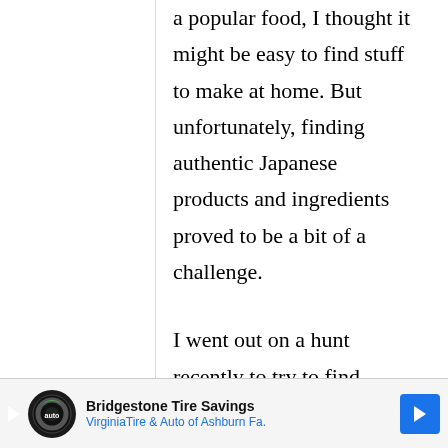a popular food, I thought it might be easy to find stuff to make at home. But unfortunately, finding authentic Japanese products and ingredients proved to be a bit of a challenge.

I went out on a hunt recently to try to find
[Figure (other): Bridgestone Tire Savings advertisement banner with Virginia Tire & Auto of Ashburn Fa. text, play button icon, tire logo, and blue directional arrow sign]